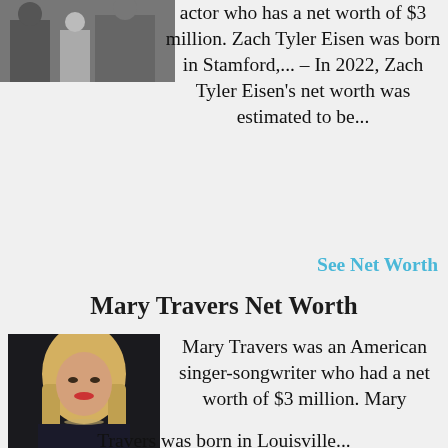[Figure (photo): Photo of a person (partial, top of page)]
actor who has a net worth of $3 million. Zach Tyler Eisen was born in Stamford,... – In 2022, Zach Tyler Eisen's net worth was estimated to be...
See Net Worth
Mary Travers Net Worth
[Figure (photo): Photo of Mary Travers, a woman with blonde hair]
Mary Travers was an American singer-songwriter who had a net worth of $3 million. Mary Travers was born in Louisville...